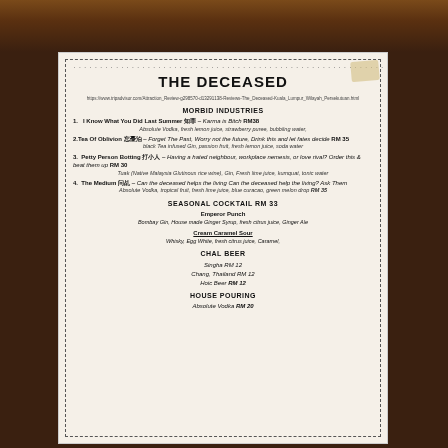THE DECEASED
https://www.tripadvisor.com/Attraction_Review-g298570-d13291138-Reviews-The_Deceased-Kuala_Lumpur_Wilayah_Persekutuan.html
MORBID INDUSTRIES
1. I Know What You Did Last Summer 知罪 – Karma is Bitch RM38 — Absolute Vodka, fresh lemon juice, strawberry puree, bubbling water,
2.Tea Of Oblivion 忘憂泊 – Forget The Past, Worry not the future, Drink this and let fates decide RM 35 — black Tea infused Gin, passion fruit, fresh lemon juice, soda water
3. Petty Person Botting 打小人 – Having a hated neighbour, workplace nemesis, or love rival? Order this & beat them up RM 30 — Tuak (Native Malaysia Glutinous rice wine), Gin, Fresh lime juice, kumquat, tonic water
4. The Medium 问乩 – Can the deceased helps the living Can the deceased help the living? Ask Them — Absolute Vodka, tropical fruit, fresh lime juice, blue curacao, green melon drop RM 35
SEASONAL COCKTAIL RM 33
Emperor Punch
Bombay Gin, House made Ginger Syrup, fresh citrus juice, Ginger Ale
Cream Caramel Sour
Whisky, Egg White, fresh citrus juice, Caramel,
CHAL BEER
Singha RM 12
Chang, Thailand RM 12
Hoic Beer RM 12
HOUSE POURING
Absolute Vodka RM 20